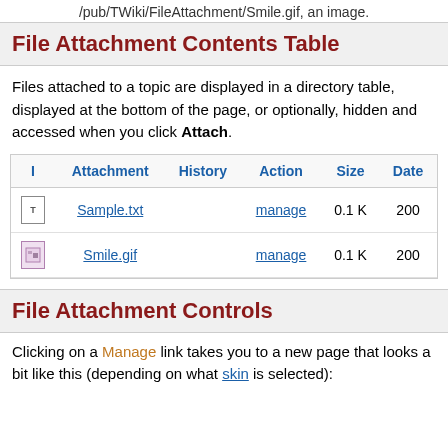/pub/TWiki/FileAttachment/Smile.gif, an image.
File Attachment Contents Table
Files attached to a topic are displayed in a directory table, displayed at the bottom of the page, or optionally, hidden and accessed when you click Attach.
| I | Attachment | History | Action | Size | Date |
| --- | --- | --- | --- | --- | --- |
| [icon] | Sample.txt |  | manage | 0.1 K | 200... |
| [icon] | Smile.gif |  | manage | 0.1 K | 200... |
File Attachment Controls
Clicking on a Manage link takes you to a new page that looks a bit like this (depending on what skin is selected):